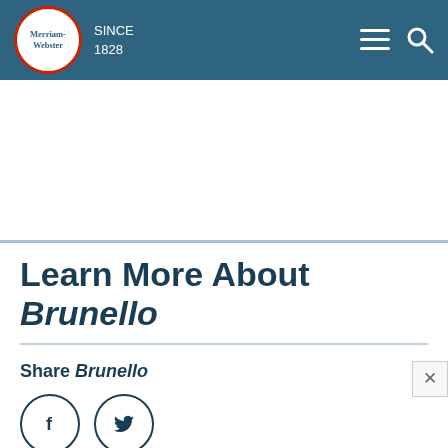Merriam-Webster SINCE 1828
Learn More About Brunello
Share Brunello